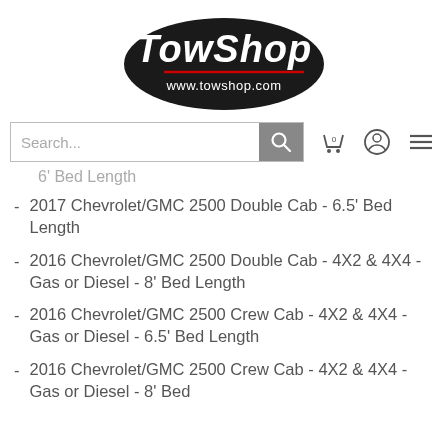[Figure (logo): TowShop logo with www.towshop.com URL]
[Figure (screenshot): Search bar with cart, user, and menu icons]
6' Bed Length (partial, cut off at top)
2017 Chevrolet/GMC 2500 Double Cab - 6.5' Bed Length
2016 Chevrolet/GMC 2500 Double Cab - 4X2 & 4X4 - Gas or Diesel - 8' Bed Length
2016 Chevrolet/GMC 2500 Crew Cab - 4X2 & 4X4 - Gas or Diesel - 6.5' Bed Length
2016 Chevrolet/GMC 2500 Crew Cab - 4X2 & 4X4 - Gas or Diesel - 8' Bed Length (partial, cut off at bottom)